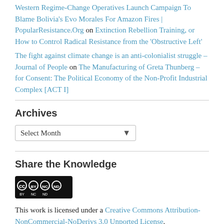Western Regime-Change Operatives Launch Campaign To Blame Bolivia's Evo Morales For Amazon Fires | PopularResistance.Org on Extinction Rebellion Training, or How to Control Radical Resistance from the 'Obstructive Left'
The fight against climate change is an anti-colonialist struggle – Journal of People on The Manufacturing of Greta Thunberg – for Consent: The Political Economy of the Non-Profit Industrial Complex [ACT I]
Archives
Select Month
Share the Knowledge
[Figure (logo): Creative Commons BY NC ND license badge]
This work is licensed under a Creative Commons Attribution-NonCommercial-NoDerivs 3.0 Unported License.
"Unlike the Latin American left, the pathetic European version has lost all sense of what it means to do politics. It does not try to propose concrete solutions to problems, and is only able to take moral stances, in particular